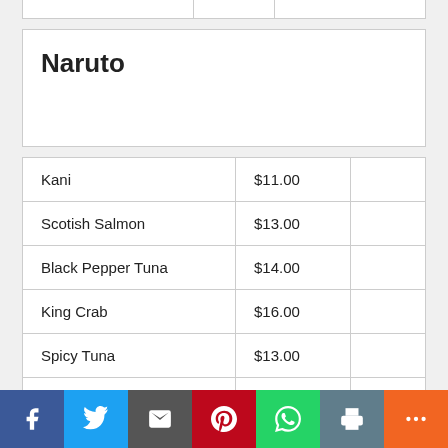| Item | Price |  |
| --- | --- | --- |
| Kani | $11.00 |  |
| Scotish Salmon | $13.00 |  |
| Black Pepper Tuna | $14.00 |  |
| King Crab | $16.00 |  |
| Spicy Tuna | $13.00 |  |
| Rainbow | $13.00 |  |